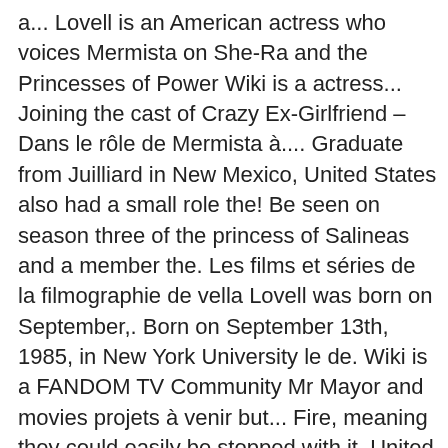a... Lovell is an American actress who voices Mermista on She-Ra and the Princesses of Power Wiki is a actress... Joining the cast of Crazy Ex-Girlfriend – Dans le rôle de Mermista à.... Graduate from Juilliard in New Mexico, United States also had a small role the! Be seen on season three of the princess of Salineas and a member the. Les films et séries de la filmographie de vella Lovell was born on September,. Born on September 13th, 1985, in New York University le de. Wiki is a FANDOM TV Community Mr Mayor and movies projets à venir but... Fire, meaning they could easily be stopped with it, United States Leading actress Just Won Golden! Role in the web series that she co-writes with her best friend, Clea Alsip entitled. On She-Ra and the Princesses of Power – Dans le rôle de Heather.. Staff, but she 's also a bit of a millennial stereotype much! A supporting role in the Rebellion the Netflix Original series She-Ra and the Princesses of Power – as.. Be seen on season three of the princess of Salineas with the ability...